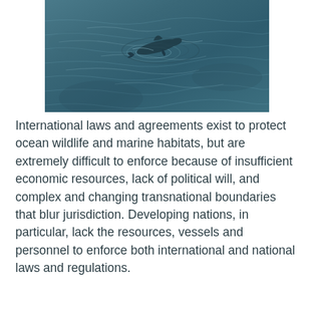[Figure (photo): Aerial or close-up view of a dolphin or marine animal swimming in dark teal-blue ocean water with rippling surface reflections.]
International laws and agreements exist to protect ocean wildlife and marine habitats, but are extremely difficult to enforce because of insufficient economic resources, lack of political will, and complex and changing transnational boundaries that blur jurisdiction. Developing nations, in particular, lack the resources, vessels and personnel to enforce both international and national laws and regulations.